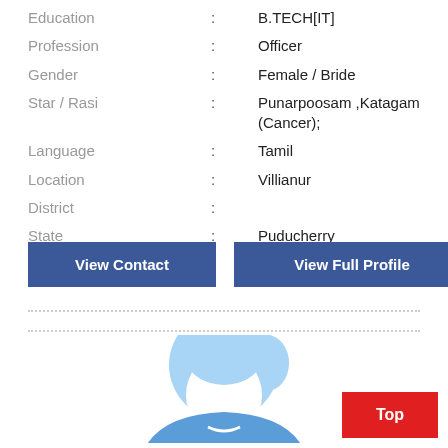Education : B.TECH[IT]
Profession : Officer
Gender : Female / Bride
Star / Rasi : Punarpoosam ,Katagam (Cancer);
Language : Tamil
Location : Villianur
District :
State : Puducherry
Country : India
View Contact
View Full Profile
[Figure (illustration): Female avatar placeholder icon — a stylized cartoon woman with light blue hair and clothing, white silhouette face, no facial features shown]
Top